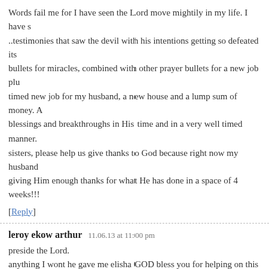Words fail me for I have seen the Lord move mightily in my life. I have s..testimonies that saw the devil with his intentions getting so defeated its bullets for miracles, combined with other prayer bullets for a new job plu timed new job for my husband, a new house and a lump sum of money. A blessings and breakthroughs in His time and in a very well timed manner. sisters, please help us give thanks to God because right now my husband giving Him enough thanks for what He has done in a space of 4 weeks!!!
[Reply]
leroy ekow arthur   11.06.13 at 11:00 pm
preside the Lord.
anything I wont he gave me elisha GOD bless you for helping on this site and GOD bless you and your family.
leroy tokyo.
[Reply]